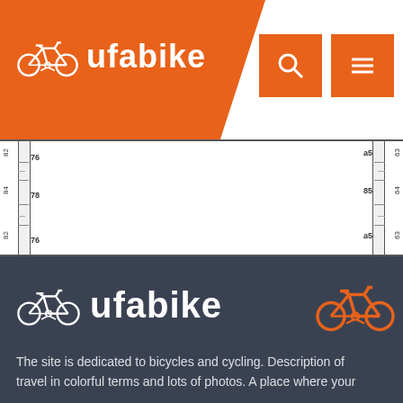[Figure (screenshot): ufabike website header with orange logo area containing bicycle icon and 'ufabike' text, US flag icon, orange search button, and orange hamburger menu button on white background]
[Figure (engineering-diagram): Technical ruler/scale drawing area with measurement markings showing numbers 76, 78, 76 on left side and 85, 85, 85 on right side with vertical ruler borders]
[Figure (logo): ufabike logo on dark blue-grey background with bicycle icon in white and 'ufabike' text in white, with orange bicycle illustration on the right]
The site is dedicated to bicycles and cycling. Description of travel in colorful terms and lots of photos. A place where your